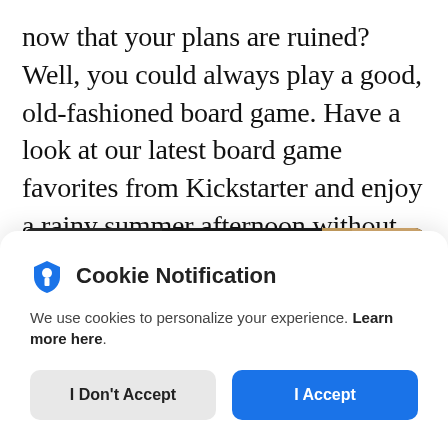now that your plans are ruined? Well, you could always play a good, old-fashioned board game. Have a look at our latest board game favorites from Kickstarter and enjoy a rainy summer afternoon without any screens.
[Figure (photo): Photo of a board game scene with a miniature figure (robot/knight) posed on a game board with cards and components, photographed from a low angle.]
Cookie Notification
We use cookies to personalize your experience. Learn more here.
[I Don't Accept] [I Accept]